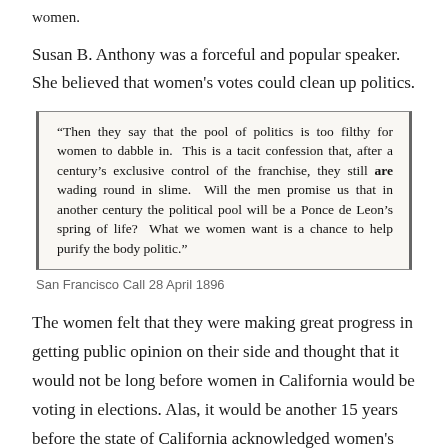women.
Susan B. Anthony was a forceful and popular speaker. She believed that women's votes could clean up politics.
[Figure (photo): Newspaper clipping with quote: "Then they say that the pool of politics is too filthy for women to dabble in. This is a tacit confession that, after a century's exclusive control of the franchise, they still are wading round in slime. Will the men promise us that in another century the political pool will be a Ponce de Leon's spring of life? What we women want is a chance to help purify the body politic."]
San Francisco Call 28 April 1896
The women felt that they were making great progress in getting public opinion on their side and thought that it would not be long before women in California would be voting in elections. Alas, it would be another 15 years before the state of California acknowledged women's right